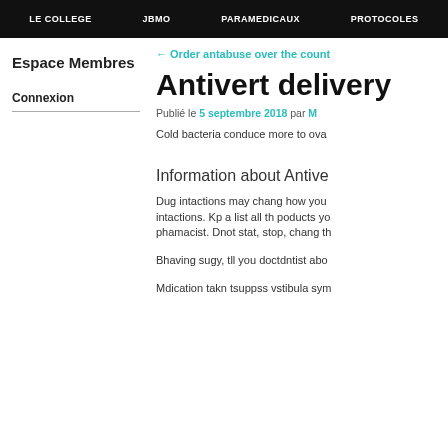LE COLLEGE  JBMO  PARAMEDICAUX  PROTOCOLES
Espace Membres
Connexion
← Order antabuse over the count
Antivert delivery
Publié le 5 septembre 2018 par M
Cold bacteria conduce more to ova
Information about Antive
Dug intactions may chang how you intactions. Kp a list all th poducts yo phamacist. Dnot stat, stop, chang th
Bhaving sugy, tll you doctdntist abo
Mdication takn tsuppss vstibula sym